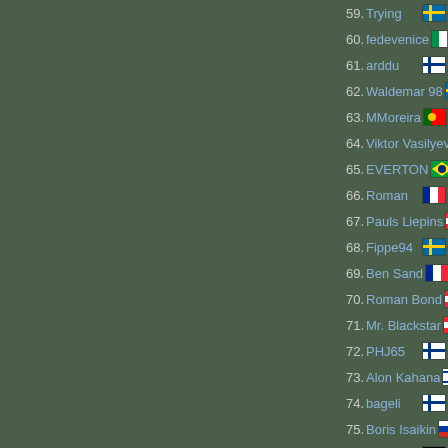59. Trying
60. fedevenice
61. arddu
62. Waldemar 98
63. MMoreira
64. Viktor Vasilyev
65. EVERTON
66. Roman
67. Pauls Liepins
68. Fippe94
69. Ben Sand
70. Roman Bond
71. Mr. Blackstar
72. PHJ65
73. Alon Kahana
74. bageli
75. Boris Isaikin
76. Krügerol
77. Oskar Leinonen
78. Gafr
79. Vladimir T
80. mr.Apo
81. gvtoukc
82. Felloop
83. Aaroz
83. Mariule
85. CilinC